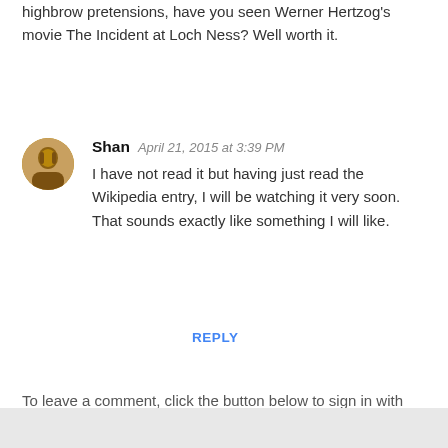highbrow pretensions, have you seen Werner Hertzog's movie The Incident at Loch Ness? Well worth it.
Shan  April 21, 2015 at 3:39 PM
I have not read it but having just read the Wikipedia entry, I will be watching it very soon. That sounds exactly like something I will like.
REPLY
To leave a comment, click the button below to sign in with Google.
[Figure (other): SIGN IN WITH GOOGLE button (blue rounded rectangle)]